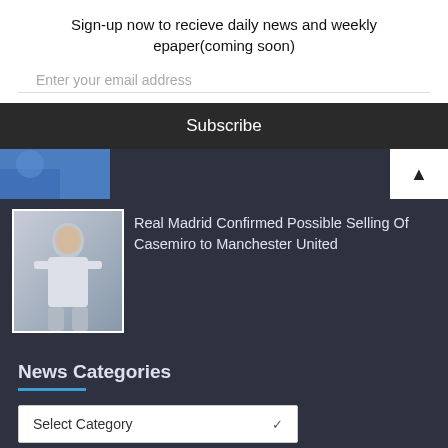Sign-up now to recieve daily news and weekly epaper(coming soon)
Enter your email address
Subscribe
[Figure (photo): Partial photo of a person in blue jersey, cropped at top]
[Figure (photo): Photo of Casemiro in Real Madrid white jersey, applauding]
Real Madrid Confirmed Possible Selling Of Casemiro to Manchester United
News Categories
Select Category
Message